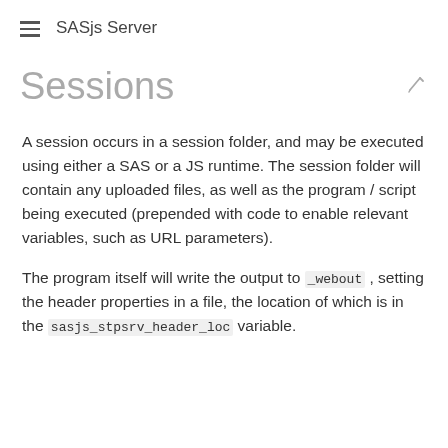SASjs Server
Sessions
A session occurs in a session folder, and may be executed using either a SAS or a JS runtime. The session folder will contain any uploaded files, as well as the program / script being executed (prepended with code to enable relevant variables, such as URL parameters).
The program itself will write the output to _webout , setting the header properties in a file, the location of which is in the sasjs_stpsrv_header_loc variable.